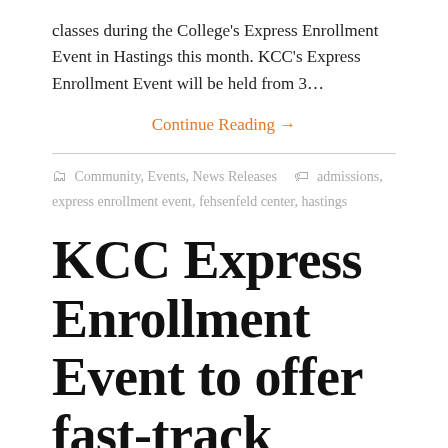classes during the College's Express Enrollment Event in Hastings this month. KCC's Express Enrollment Event will be held from 3…
Continue Reading →
Community, Events, News Releases   admissions, express enrollment event, fehsenfeld center, hastings
KCC Express Enrollment Event to offer fast-track services, chance to win free credits